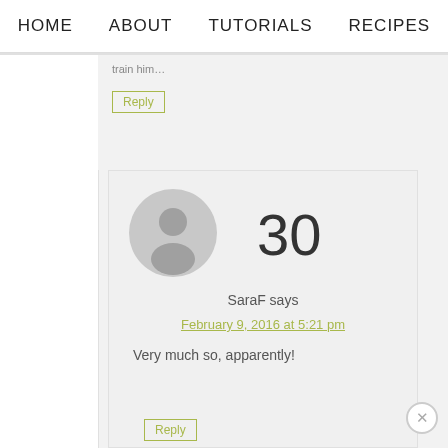HOME   ABOUT   TUTORIALS   RECIPES
train him…
Reply
[Figure (illustration): Generic user avatar circle with silhouette]
30
SaraF says
February 9, 2016 at 5:21 pm
Very much so, apparently!
Reply